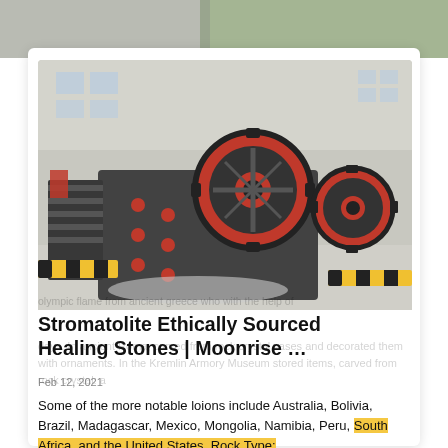[Figure (photo): Industrial jaw crusher machines in a factory/warehouse setting, dark grey with red accents and flywheel, yellow-black striped safety barriers on floor]
Stromatolite Ethically Sourced Healing Stones | Moonrise …
Feb 12, 2021
Some of the more notable loions include Australia, Bolivia, Brazil, Madagascar, Mexico, Mongolia, Namibia, Peru, South Africa, and the United States. Rock Type: